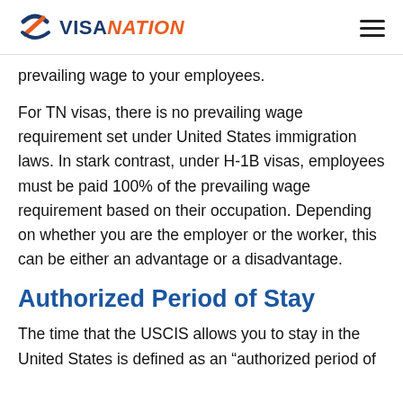VISANATION
prevailing wage to your employees.
For TN visas, there is no prevailing wage requirement set under United States immigration laws. In stark contrast, under H-1B visas, employees must be paid 100% of the prevailing wage requirement based on their occupation. Depending on whether you are the employer or the worker, this can be either an advantage or a disadvantage.
Authorized Period of Stay
The time that the USCIS allows you to stay in the United States is defined as an “authorized period of